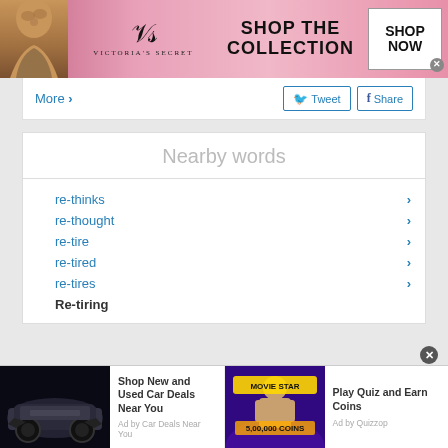[Figure (photo): Victoria's Secret advertisement banner with model, logo, 'SHOP THE COLLECTION' text and 'SHOP NOW' button]
More ›
Tweet   Share
Nearby words
re-thinks
re-thought
re-tire
re-tired
re-tires
Re-tiring
[Figure (photo): Bottom advertisement: Shop New and Used Car Deals Near You (Ad by Car Deals Near You) and Play Quiz and Earn Coins (Ad by Quizzop)]